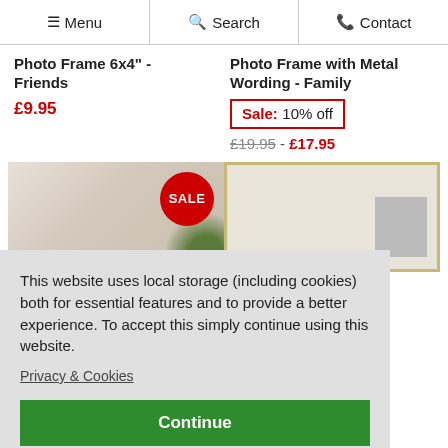Menu | Search | Contact
Photo Frame 6x4" - Friends
£9.95
Photo Frame with Metal Wording - Family
Sale: 10% off
£19.95 - £17.95
[Figure (photo): Photo frame product image with SALE circle badge and foliage decoration]
[Figure (photo): Gold/champagne colored photo frame with inner photo showing grandkids]
This website uses local storage (including cookies) both for essential features and to provide a better experience. To accept this simply continue using this website.
Privacy & Cookies
Continue
Frame 4x4" - Best Friends
x 4 - Grandkids